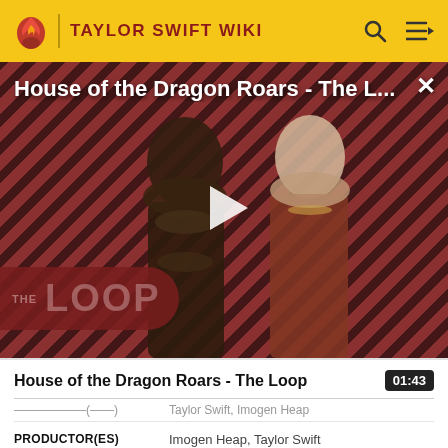TAYLOR SWIFT WIKI
[Figure (screenshot): Video thumbnail for 'House of the Dragon Roars - The L...' showing two fantasy characters against a red diagonal stripe background with THE LOOP logo overlay and a white play button in the center.]
House of the Dragon Roars - The Loop
01:43
Taylor Swift, Imogen Heap
| Label | Value |
| --- | --- |
| PRODUCTOR(ES) | Imogen Heap, Taylor Swift |